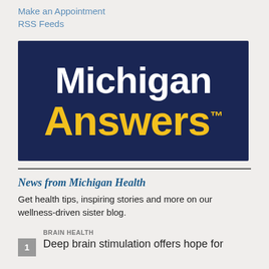Make an Appointment
RSS Feeds
[Figure (logo): Michigan Answers logo: dark navy background with 'Michigan' in white bold text and 'Answers™' in yellow bold text]
News from Michigan Health
Get health tips, inspiring stories and more on our wellness-driven sister blog.
BRAIN HEALTH
Deep brain stimulation offers hope for